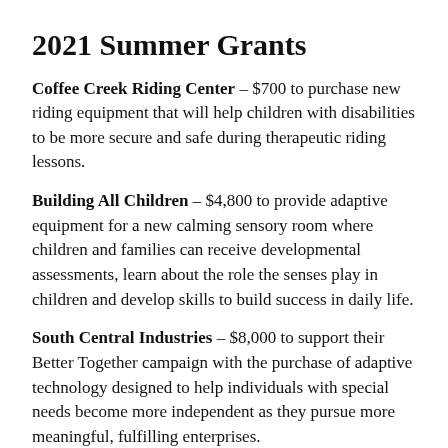2021 Summer Grants
Coffee Creek Riding Center – $700 to purchase new riding equipment that will help children with disabilities to be more secure and safe during therapeutic riding lessons.
Building All Children – $4,800 to provide adaptive equipment for a new calming sensory room where children and families can receive developmental assessments, learn about the role the senses play in children and develop skills to build success in daily life.
South Central Industries – $8,000 to support their Better Together campaign with the purchase of adaptive technology designed to help individuals with special needs become more independent as they pursue more meaningful, fulfilling enterprises.